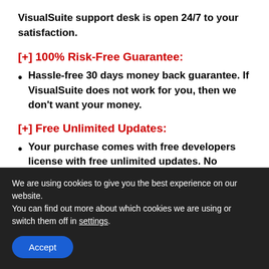VisualSuite support desk is open 24/7 to your satisfaction.
[+] 100% Risk-Free Guarantee:
Hassle-free 30 days money back guarantee. If VisualSuite does not work for you, then we don't want your money.
[+] Free Unlimited Updates:
Your purchase comes with free developers license with free unlimited updates. No hidden or any extra charges
We are using cookies to give you the best experience on our website.
You can find out more about which cookies we are using or switch them off in settings.
Accept